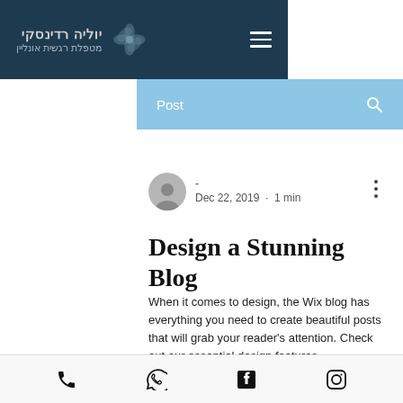יוליה רדינסקי מטפלת רגשית אונליין
Post
- Dec 22, 2019 · 1 min
Design a Stunning Blog
When it comes to design, the Wix blog has everything you need to create beautiful posts that will grab your reader's attention. Check out our essential design features.
Phone, WhatsApp, Facebook, Instagram icons